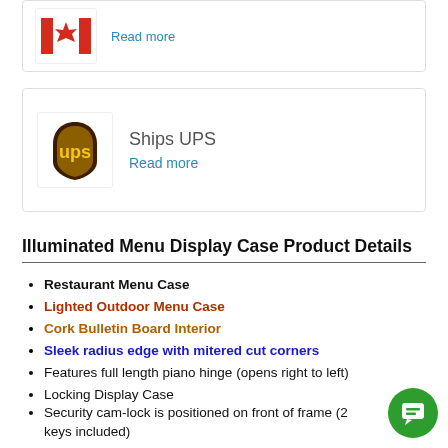[Figure (logo): Canada flag logo partially visible at top]
Read more
[Figure (logo): UPS brown shield logo]
Ships UPS
Read more
Illuminated Menu Display Case Product Details
Restaurant Menu Case
Lighted Outdoor Menu Case
Cork Bulletin Board Interior
Sleek radius edge with mitered cut corners
Features full length piano hinge (opens right to left)
Locking Display Case
Security cam-lock is positioned on front of frame (2 keys included)
Overall Display Case Depth: 4"
Interior Useable Depth: 2 5/8"
4 outdoor treated metal frame finishes (see belo…
Break Resistant Acrylic widow: Ideal for high traffic…